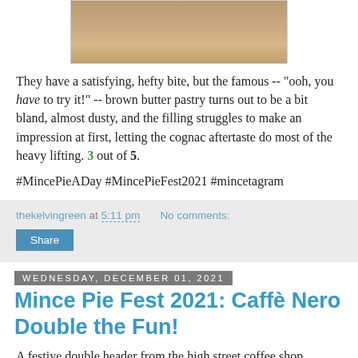[Figure (photo): Partial bottom of a photo of a mince pie or pastry item, brown in color, on a light background]
They have a satisfying, hefty bite, but the famous -- "ooh, you have to try it!" -- brown butter pastry turns out to be a bit bland, almost dusty, and the filling struggles to make an impression at first, letting the cognac aftertaste do most of the heavy lifting. 3 out of 5.
#MincePieADay #MincePieFest2021 #mincetagram
thekelvingreen at 5:11 pm    No comments:
Share
Wednesday, December 01, 2021
Mince Pie Fest 2021: Caffè Nero Double the Fun!
A festive double header from the high street coffee shop